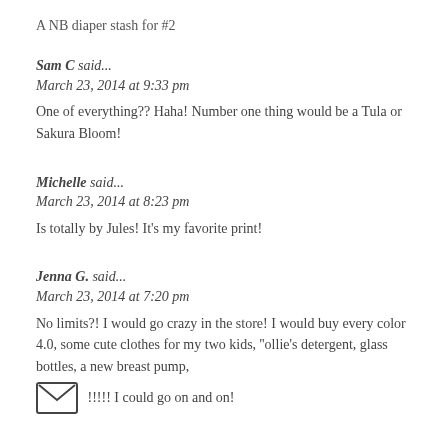A NB diaper stash for #2
Sam C said...
March 23, 2014 at 9:33 pm
One of everything?? Haha! Number one thing would be a Tula or Sakura Bloom!
Michelle said...
March 23, 2014 at 8:23 pm
Is totally by Jules! It's my favorite print!
Jenna G. said...
March 23, 2014 at 7:20 pm
No limits?! I would go crazy in the store! I would buy every color 4.0, some cute clothes for my two kids, ''ollie's detergent, glass bottles, a new breast pump, !!!!! I could go on and on!